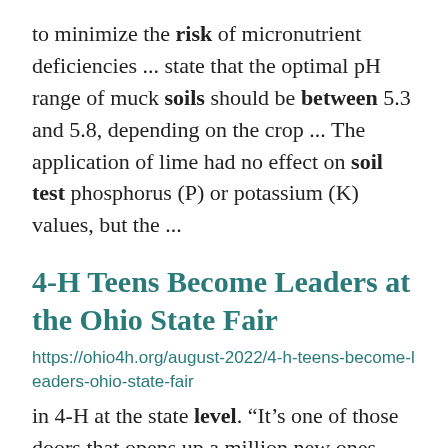to minimize the risk of micronutrient deficiencies ... state that the optimal pH range of muck soils should be between 5.3 and 5.8, depending on the crop ... The application of lime had no effect on soil test phosphorus (P) or potassium (K) values, but the ...
4-H Teens Become Leaders at the Ohio State Fair
https://ohio4h.org/august-2022/4-h-teens-become-leaders-ohio-state-fair
in 4-H at the state level. “It’s one of those doors that opens up a million new ones. I’ve had the ... will prepare them for the